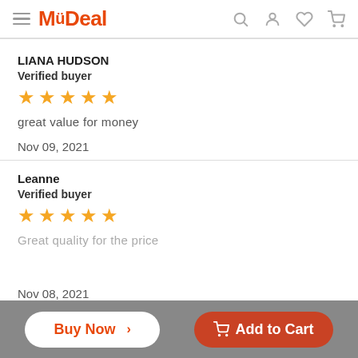MyDeal
LIANA HUDSON
Verified buyer
★★★★★
great value for money
Nov 09, 2021
Leanne
Verified buyer
★★★★★
Great quality for the price
Nov 08, 2021